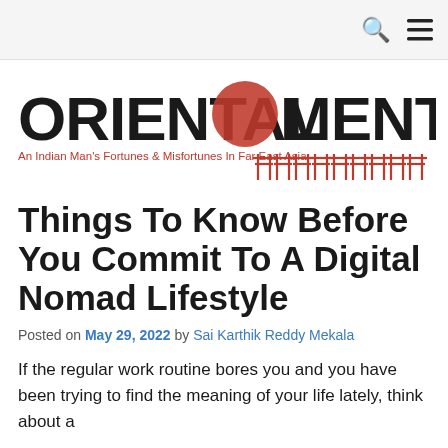[Figure (logo): Oriental Mental blog logo — bold black hand-drawn text 'ORIENTAL MENTAL' with a red sun/circle glyph between the two words, subtitle 'An Indian Man’s Fortunes & Misfortunes In Far East Asia' in red, and red torii gate decorative border on the right]
Things To Know Before You Commit To A Digital Nomad Lifestyle
Posted on May 29, 2022 by Sai Karthik Reddy Mekala
If the regular work routine bores you and you have been trying to find the meaning of your life lately, think about a